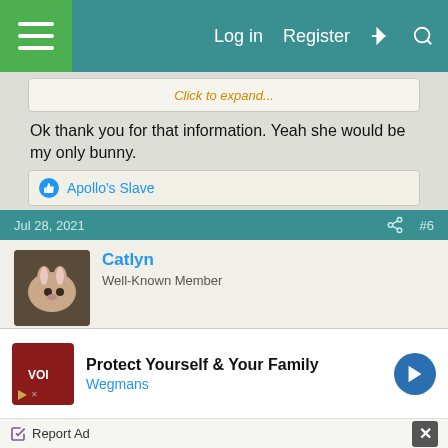Log in  Register
Click to expand...
Ok thank you for that information. Yeah she would be my only bunny.
Apollo's Slave
Jul 28, 2021  #6
Catlyn
Well-Known Member
I haven't dewormed any of my rabbits even once. They all came from previous owners, and one boy even had two owners before us. None of them have ever had issues with parasitic worms. I haven't worried about it
Report Ad
[Figure (screenshot): Wegmans advertisement banner: Protect Yourself & Your Family, Wegmans logo with play button, blue arrow icon]